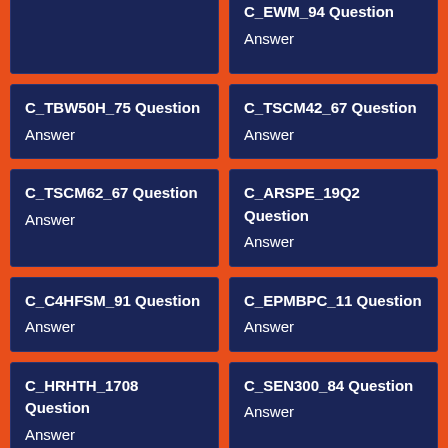C_EWM_94 Question Answer
C_TBW50H_75 Question Answer
C_TSCM42_67 Question Answer
C_TSCM62_67 Question Answer
C_ARSPE_19Q2 Question Answer
C_C4HFSM_91 Question Answer
C_EPMBPC_11 Question Answer
C_HRHTH_1708 Question Answer
C_SEN300_84 Question Answer
C_BYD15_1908 Question Answer
C_ARSNAP_194 Question Answer